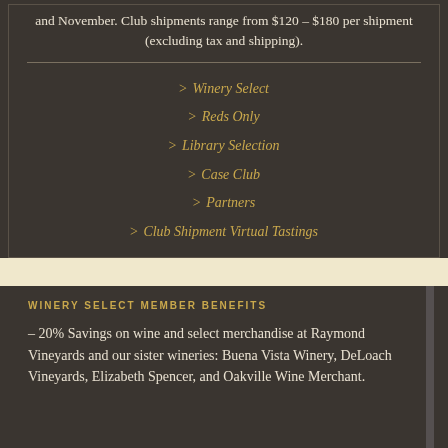and November. Club shipments range from $120 – $180 per shipment (excluding tax and shipping).
> Winery Select
> Reds Only
> Library Selection
> Case Club
> Partners
> Club Shipment Virtual Tastings
WINERY SELECT MEMBER BENEFITS
– 20% Savings on wine and select merchandise at Raymond Vineyards and our sister wineries: Buena Vista Winery, DeLoach Vineyards, Elizabeth Spencer, and Oakville Wine Merchant.